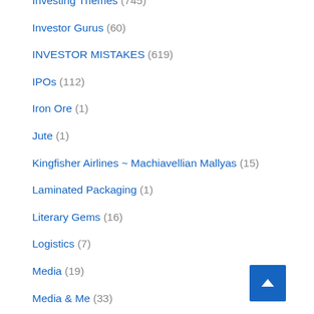Investing Themes (745)
Investor Gurus (60)
INVESTOR MISTAKES (619)
IPOs (112)
Iron Ore (1)
Jute (1)
Kingfisher Airlines ~ Machiavellian Mallyas (15)
Laminated Packaging (1)
Literary Gems (16)
Logistics (7)
Media (19)
Media & Me (33)